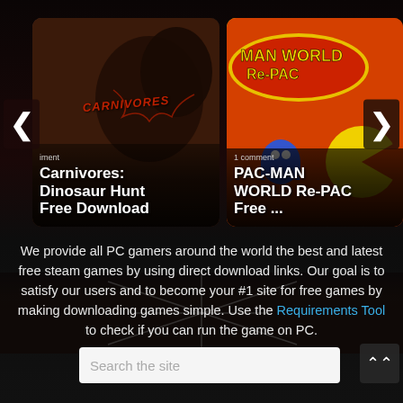[Figure (screenshot): Carousel card showing Carnivores: Dinosaur Hunt game with dinosaur image, navigation arrow, and text overlay reading 'Carnivores: Dinosaur Hunt Free Download']
[Figure (screenshot): Carousel card showing PAC-MAN WORLD Re-PAC game with colorful game art, '1 comment' label, and text overlay reading 'PAC-MAN WORLD Re-PAC Free ...']
We provide all PC gamers around the world the best and latest free steam games by using direct download links. Our goal is to satisfy our users and to become your #1 site for free games by making downloading games simple. Use the Requirements Tool to check if you can run the game on PC.
[Figure (screenshot): Search bar input field with placeholder text 'Search the site' and a scroll-to-top button on the right]